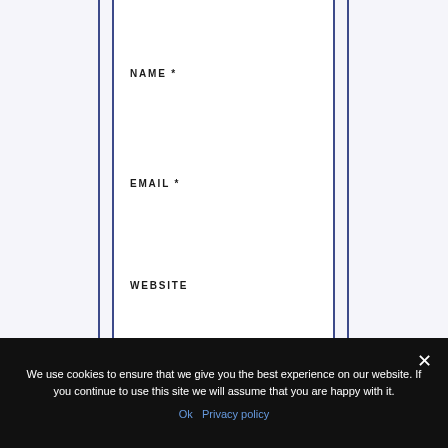NAME *
EMAIL *
WEBSITE
SAVE MY NAME, EMAIL, AND WEBSITE IN THIS BROWSER FOR THE NEXT TIME I COMMENT.
We use cookies to ensure that we give you the best experience on our website. If you continue to use this site we will assume that you are happy with it.
Ok   Privacy policy